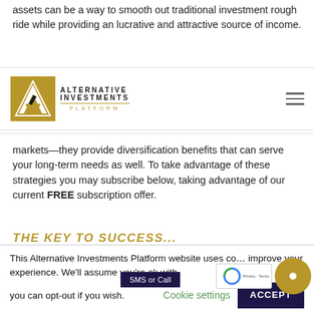assets can be a way to smooth out traditional investment rough ride while providing an lucrative and attractive source of income.
[Figure (logo): Alternative Investments Platform logo with golden A icon and text]
markets—they provide diversification benefits that can serve your long-term needs as well. To take advantage of these strategies you may subscribe below, taking advantage of our current FREE subscription offer.
THE KEY TO SUCCESS...
The Alternative Investment Platform enables you identify the highest performing, the most secure and most
This Alternative Investments Platform website uses cookies to improve your experience. We'll assume you're ok with this, but you can opt-out if you wish.
Cookie settings    ACCEPT